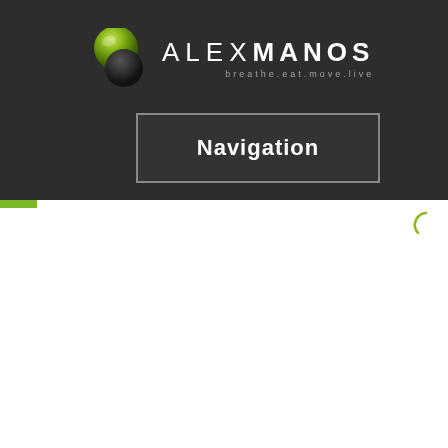[Figure (logo): Alex Manos logo with green and black sphere icon, text 'ALEX MANOS' with tagline 'breathe.eat.move.live']
Navigation
[Figure (other): Green loading spinner icon in top right of white section]